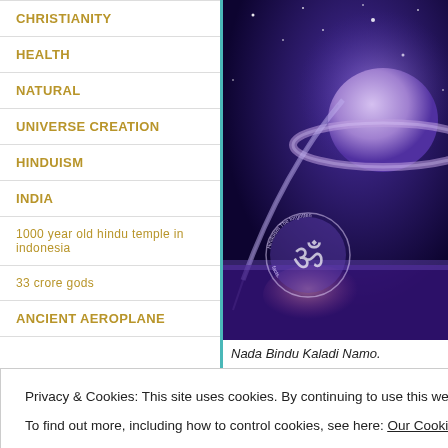CHRISTIANITY
HEALTH
NATURAL
UNIVERSE CREATION
HINDUISM
INDIA
1000 year old hindu temple in indonesia
33 crore gods
ANCIENT AEROPLANE
[Figure (illustration): Cosmic/space illustration with purple nebula, planet with rings (Saturn-like), stars, and an Om symbol watermark with text 'Hinduism The forgotten facts']
Nada Bindu Kaladi Namo.
Privacy & Cookies: This site uses cookies. By continuing to use this website, you agree to their use.
To find out more, including how to control cookies, see here: Our Cookie Policy
Close and accept